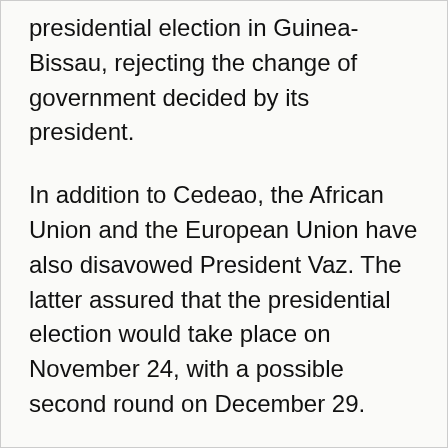presidential election in Guinea-Bissau, rejecting the change of government decided by its president.
In addition to Cedeao, the African Union and the European Union have also disavowed President Vaz. The latter assured that the presidential election would take place on November 24, with a possible second round on December 29.
The election campaign opened on November 2nd and will run until November 22nd.